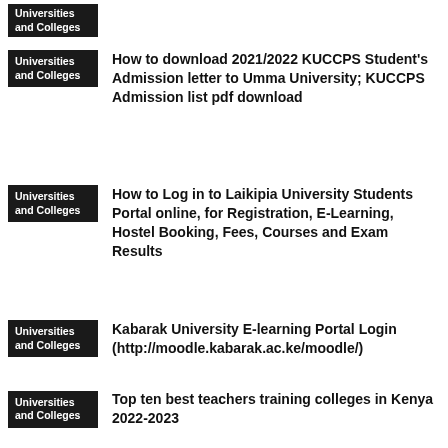[Figure (other): Dark badge label reading 'Universities and Colleges' (partially cropped at top)]
How to download 2021/2022 KUCCPS Student's Admission letter to Umma University; KUCCPS Admission list pdf download
How to Log in to Laikipia University Students Portal online, for Registration, E-Learning, Hostel Booking, Fees, Courses and Exam Results
Kabarak University E-learning Portal Login (http://moodle.kabarak.ac.ke/moodle/)
Top ten best teachers training colleges in Kenya 2022-2023